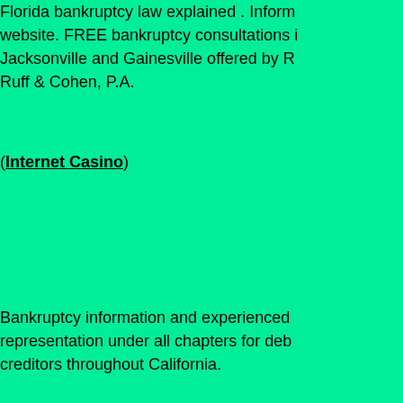Florida bankruptcy law explained. Information on this website. FREE bankruptcy consultations in Jacksonville and Gainesville offered by ... Ruff & Cohen, P.A.
(Internet Casino)
Bankruptcy information and experienced representation under all chapters for debtors and creditors throughout California.
(Internet Casino)
Bankruptcy court and chapter 7. Filing ba...
(Internet Casino)